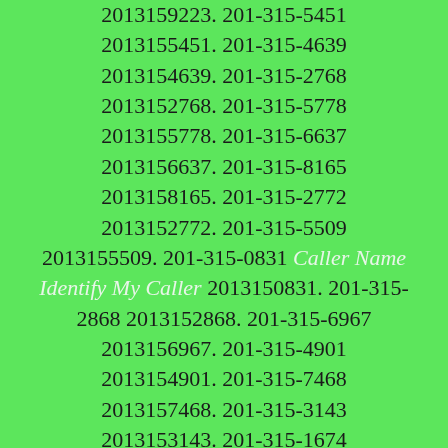2013159223. 201-315-5451 2013155451. 201-315-4639 2013154639. 201-315-2768 2013152768. 201-315-5778 2013155778. 201-315-6637 2013156637. 201-315-8165 2013158165. 201-315-2772 2013152772. 201-315-5509 2013155509. 201-315-0831 Caller Name Identify My Caller 2013150831. 201-315-2868 2013152868. 201-315-6967 2013156967. 201-315-4901 2013154901. 201-315-7468 2013157468. 201-315-3143 2013153143. 201-315-1674 2013151674. 201-315-0663 Caller Name Identify My Caller 2013150663. 201-315-7621 2013157621. 201-315-3002 2013153002. 201-315-2216 2013152216. 201-315-8904 2013158904. 201-315-1767 2013151767. 201-315-3983 2013153983. 201-315-3248 2013153248. 201-315-0382 Caller Name Identify My Caller 2013150382. 201-